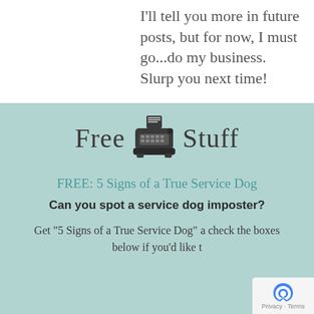I'll tell you more in future posts, but for now, I must go...do my business. Slurp you next time!
[Figure (illustration): Typewriter icon in dark gray/charcoal color]
Free Stuff
FREE: 5 Signs of a True Service Dog
Can you spot a service dog imposter?
Get "5 Signs of a True Service Dog" a check the boxes below if you'd like t